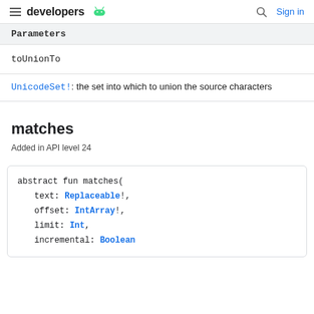developers [android logo] | [search] Sign in
Parameters
| Parameter |
| --- |
| toUnionTo |
UnicodeSet!: the set into which to union the source characters
matches
Added in API level 24
abstract fun matches(
    text: Replaceable!,
    offset: IntArray!,
    limit: Int,
    incremental: Boolean